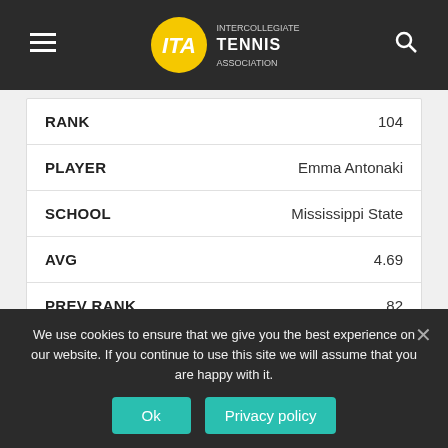ITA Intercollegiate Tennis Association
| Field | Value |
| --- | --- |
| RANK | 104 |
| PLAYER | Emma Antonaki |
| SCHOOL | Mississippi State |
| AVG | 4.69 |
| PREV RANK | 82 |
| Field | Value |
| --- | --- |
| RANK | 105 |
| PLAYER | Brindtha Ramasamy |
We use cookies to ensure that we give you the best experience on our website. If you continue to use this site we will assume that you are happy with it.